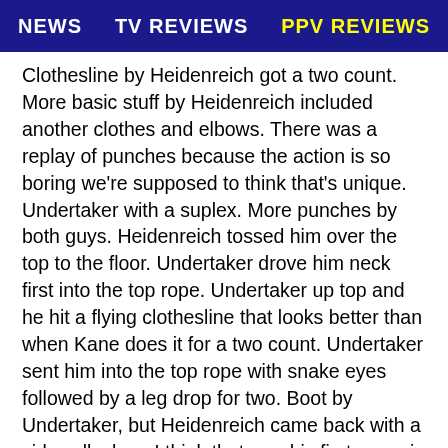NEWS   TV REVIEWS   PPV REVIEWS
Clothesline by Heidenreich got a two count. More basic stuff by Heidenreich included another clothes and elbows. There was a replay of punches because the action is so boring we're supposed to think that's unique. Undertaker with a suplex. More punches by both guys. Heidenreich tossed him over the top to the floor. Undertaker drove him neck first into the top rope. Undertaker up top and he hit a flying clothesline that looks better than when Kane does it for a two count. Undertaker sent him into the top rope with snake eyes followed by a leg drop for two. Boot by Undertaker, but Heidenreich came back with a sidewalk slam. I think that was his first move in about ten minutes. Heidenreich went for the corner punches, so Undertaker did his Powerbomb out of the corner spot that he did all the time and it got a two count as Heidenreich grabbed the bottom rope.